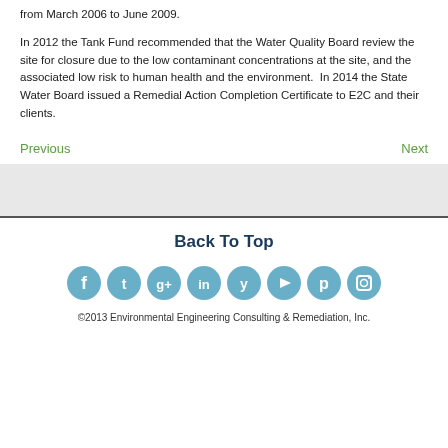from March 2006 to June 2009.
In 2012 the Tank Fund recommended that the Water Quality Board review the site for closure due to the low contaminant concentrations at the site, and the associated low risk to human health and the environment.  In 2014 the State Water Board issued a Remedial Action Completion Certificate to E2C and their clients.
Previous   Next
Back To Top
[Figure (other): Social media icons row: Facebook, Twitter, Google+, LinkedIn, Yelp, YouTube, Pinterest, Instagram]
©2013 Environmental Engineering Consulting & Remediation, Inc.